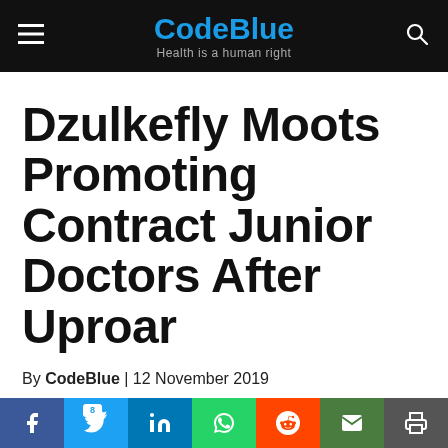CodeBlue — Health is a human right
Dzulkefly Moots Promoting Contract Junior Doctors After Uproar
By CodeBlue | 12 November 2019
Many responded with issues faced by other